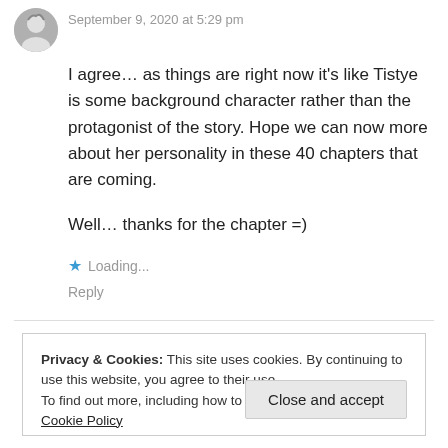September 9, 2020 at 5:29 pm
I agree… as things are right now it's like Tistye is some background character rather than the protagonist of the story. Hope we can now more about her personality in these 40 chapters that are coming.

Well… thanks for the chapter =)
Loading...
Reply
Privacy & Cookies: This site uses cookies. By continuing to use this website, you agree to their use.
To find out more, including how to control cookies, see here: Cookie Policy
Close and accept